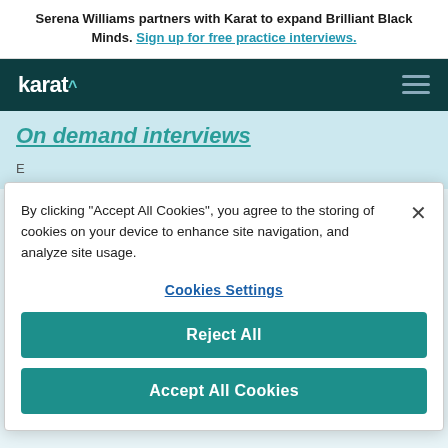Serena Williams partners with Karat to expand Brilliant Black Minds. Sign up for free practice interviews.
[Figure (logo): Karat logo with caret symbol in white on dark teal navigation bar with hamburger menu icon]
On demand interviews
By clicking “Accept All Cookies”, you agree to the storing of cookies on your device to enhance site navigation, and analyze site usage.
Cookies Settings
Reject All
Accept All Cookies